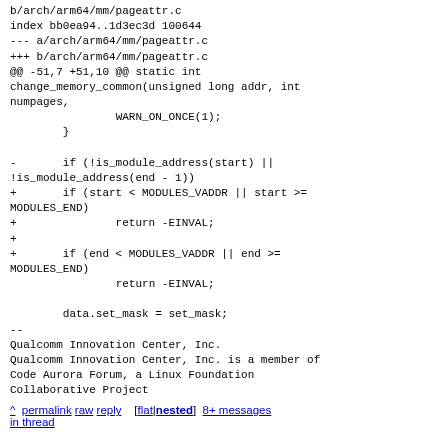b/arch/arm64/mm/pageattr.c
index bb0ea94..1d3ec3d 100644
--- a/arch/arm64/mm/pageattr.c
+++ b/arch/arm64/mm/pageattr.c
@@ -51,7 +51,10 @@ static int change_memory_common(unsigned long addr, int numpages,
 				WARN_ON_ONCE(1);
 			}

-		if (!is_module_address(start) ||
!is_module_address(end - 1))
+		if (start < MODULES_VADDR || start >=
MODULES_END)
+				return -EINVAL;
+
+		if (end < MODULES_VADDR || end >=
MODULES_END)
				return -EINVAL;

			data.set_mask = set_mask;
--
Qualcomm Innovation Center, Inc.
Qualcomm Innovation Center, Inc. is a member of Code Aurora Forum, a Linux Foundation Collaborative Project
^ permalink  raw  reply   [flat|nested]  8+ messages in thread